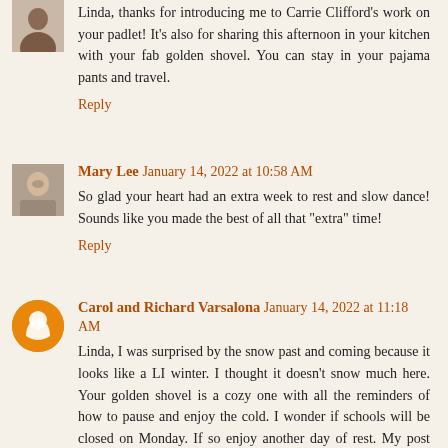Linda, thanks for introducing me to Carrie Clifford's work on your padlet! It's also for sharing this afternoon in your kitchen with your fab golden shovel. You can stay in your pajama pants and travel.
Reply
Mary Lee January 14, 2022 at 10:58 AM
So glad your heart had an extra week to rest and slow dance! Sounds like you made the best of all that "extra" time!
Reply
Carol and Richard Varsalona January 14, 2022 at 11:18 AM
Linda, I was surprised by the snow past and coming because it looks like a LI winter. I thought it doesn't snow much here. Your golden shovel is a cozy one with all the reminders of how to pause and enjoy the cold. I wonder if schools will be closed on Monday. If so enjoy another day of rest. My post will come later in the day.